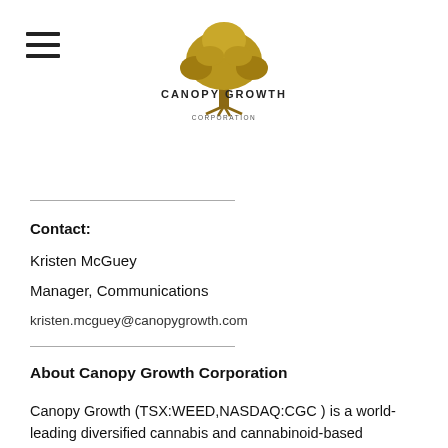[Figure (logo): Canopy Growth Corporation logo with tree illustration and company name]
Contact:
Kristen McGuey
Manager, Communications
kristen.mcguey@canopygrowth.com
About Canopy Growth Corporation
Canopy Growth (TSX:WEED,NASDAQ:CGC ) is a world-leading diversified cannabis and cannabinoid-based